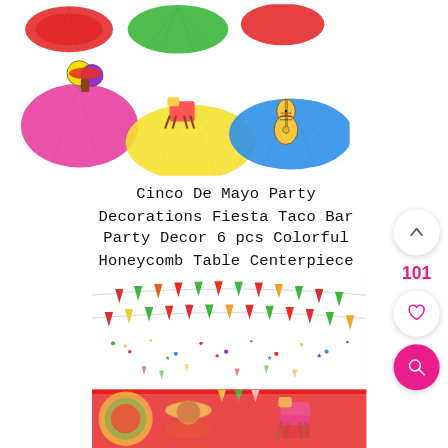[Figure (photo): Cinco de Mayo fiesta honeycomb table centerpiece decorations — colorful paper honeycomb balls in red, green, pink, yellow, blue with cutout figures of maracas, donkey/llama piñata, guitar, and sombrero character on top]
Cinco De Mayo Party Decorations Fiesta Taco Bar Party Decor 6 pcs Colorful Honeycomb Table Centerpiece for Mexican Theme Baby Shower Graduation Birthday Anniversary Celebration
[Figure (photo): Colorful Cinco de Mayo fiesta banner with triangular pennant flags in red, green, yellow with Mexican patterns, plus a white tablecloth with fiesta confetti stars and dots]
[Figure (photo): Fiesta themed red banner/plate with Mexican sombrero and pinata decorations — partially visible at bottom of page, reflected image below]